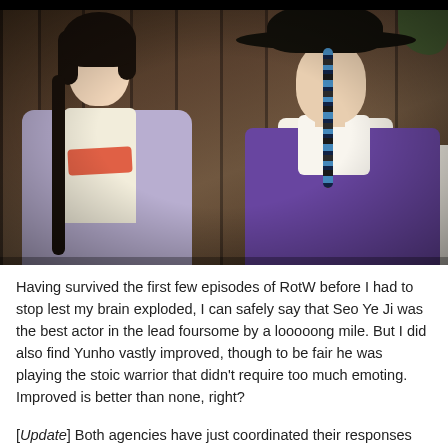[Figure (photo): A scene from a Korean historical drama (likely 'Rebel: Thief Who Stole the People' or similar), showing a woman in a lavender/purple hanbok with a long braid facing a man in a purple vest hanbok and a traditional black gat (hat) with blue bead accessories. They appear to be facing each other in what looks like a historical Korean setting with wooden panels in the background.]
Having survived the first few episodes of RotW before I had to stop lest my brain exploded, I can safely say that Seo Ye Ji was the best actor in the lead foursome by a looooong mile. But I did also find Yunho vastly improved, though to be fair he was playing the stoic warrior that didn't require too much emoting. Improved is better than none, right?
[Update] Both agencies have just coordinated their responses say the couple is not dating. Seo Ye Ji's agency says they are really close onna-dongsaeng and Yunho takes